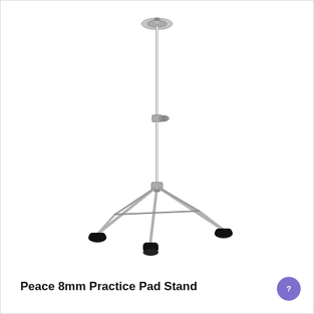[Figure (photo): A chrome/silver practice pad stand (Peace 8mm) with a three-legged tripod base, adjustable center post with a clamp/wing nut, and a top cymbal-style mounting bracket. The stand has black rubber feet on each tripod leg.]
Peace 8mm Practice Pad Stand